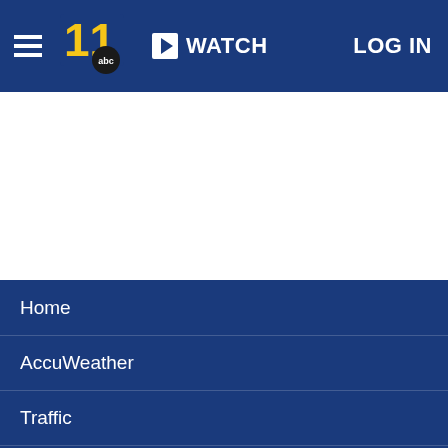WATCH | LOG IN | WTVD 11 ABC
[Figure (screenshot): White blank content area]
Home
AccuWeather
Traffic
Local News
Categories
Station Info
Shows